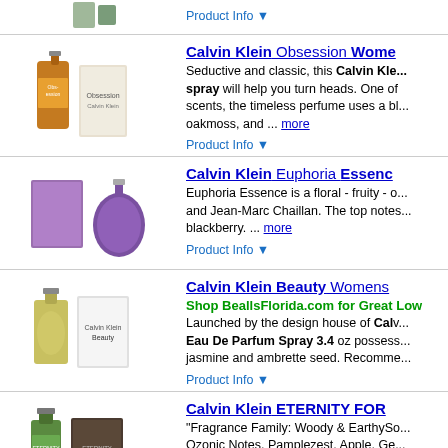[Figure (photo): Perfume bottle at top (partial row)]
Product Info ▼
[Figure (photo): Calvin Klein Obsession Women perfume bottles]
Calvin Klein Obsession Wome...
Seductive and classic, this Calvin Kle... spray will help you turn heads. One of... scents, the timeless perfume uses a bl... oakmoss, and ... more
Product Info ▼
[Figure (photo): Calvin Klein Euphoria Essence perfume bottles (purple)]
Calvin Klein Euphoria Essenc...
Euphoria Essence is a floral - fruity - o... and Jean-Marc Chaillan. The top notes... blackberry. ... more
Product Info ▼
[Figure (photo): Calvin Klein Beauty Womens perfume bottles]
Calvin Klein Beauty Womens...
Shop BeallsFlorida.com for Great Low...
Launched by the design house of Cal... Eau De Parfum Spray 3.4 oz possess... jasmine and ambrette seed. Recomme...
Product Info ▼
[Figure (photo): Calvin Klein ETERNITY FOR MEN perfume bottles]
Calvin Klein ETERNITY FOR...
"Fragrance Family: Woody & EarthySo... Ozonic Notes, Pamplezest, Apple, Ge... Lavandin, Suede Note, Orris, Vetiver, A... refreshing scent ... more
Product Info ▼